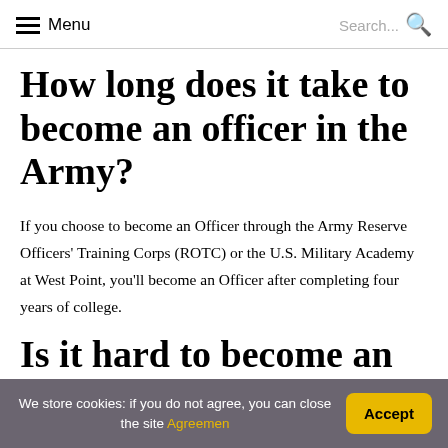Menu | Search...
How long does it take to become an officer in the Army?
If you choose to become an Officer through the Army Reserve Officers' Training Corps (ROTC) or the U.S. Military Academy at West Point, you'll become an Officer after completing four years of college.
Is it hard to become an
We store cookies: if you do not agree, you can close the site Agreemen | Accept